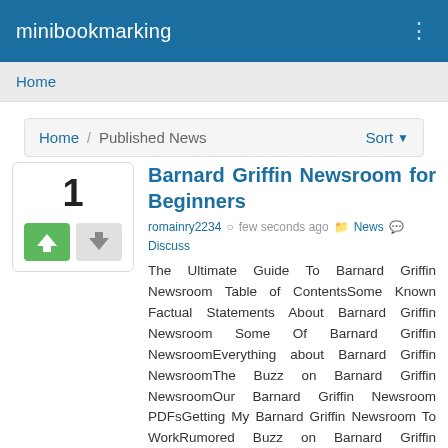minibookmarking
Home
Home / Published News   Sort
Barnard Griffin Newsroom for Beginners
romainry2234  few seconds ago  News  Discuss
The Ultimate Guide To Barnard Griffin Newsroom Table of ContentsSome Known Factual Statements About Barnard Griffin Newsroom Some Of Barnard Griffin NewsroomEverything about Barnard Griffin NewsroomThe Buzz on Barnard Griffin NewsroomOur Barnard Griffin Newsroom PDFsGetting My Barnard Griffin Newsroom To WorkRumored Buzz on Barnard Griffin NewsroomThings about Barnard Griffin NewsroomRTL